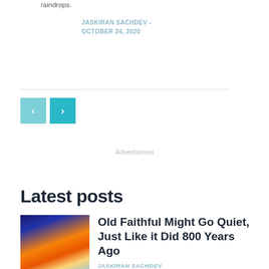raindrops.
JASKIRAN SACHDEV - OCTOBER 24, 2020
[Figure (other): Navigation pagination buttons: left arrow (lighter teal) and right arrow (darker teal)]
Advertisment
Latest posts
[Figure (photo): Photo of Old Faithful geyser erupting at sunset with orange and blue colors]
Old Faithful Might Go Quiet, Just Like it Did 800 Years Ago
JASKIRAN SACHDEV
[Figure (photo): Photo of blue water or sky - partial view]
Scientists Finally